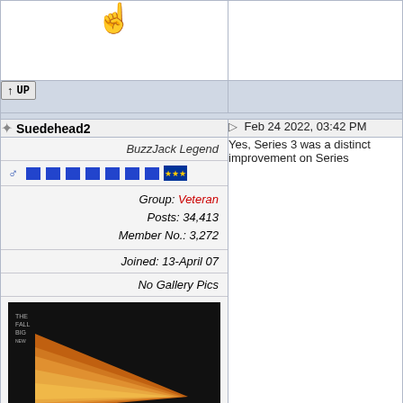[Figure (other): Pointing finger emoji (☝️) in left column cell]
[Figure (other): UP button with arrow icon in left column, grey background row]
★ Suedehead2    Feb 24 2022, 03:42 PM
BuzzJack Legend
Group: Veteran
Posts: 34,413
Member No.: 3,272
Joined: 13-April 07
No Gallery Pics
[Figure (photo): Dark background abstract image with orange/amber geometric chevron shapes pointing right]
[Figure (other): Row of emoji icons: nerd face, person, trophy, group of people]
Yes, Series 3 was a distinct improvement on Series